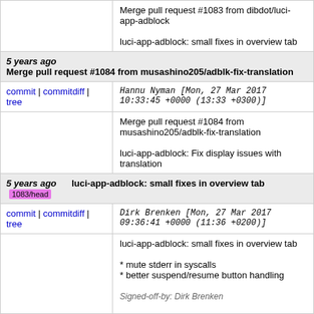Merge pull request #1083 from dibdot/luci-app-adblock

luci-app-adblock: small fixes in overview tab
5 years ago  Merge pull request #1084 from musashino205/adblk-fix-translation
commit | commitdiff | tree  Hannu Nyman [Mon, 27 Mar 2017 10:33:45 +0000 (13:33 +0300)]
Merge pull request #1084 from musashino205/adblk-fix-translation

luci-app-adblock: Fix display issues with translation
5 years ago  luci-app-adblock: small fixes in overview tab  1083/head
commit | commitdiff | tree  Dirk Brenken [Mon, 27 Mar 2017 09:36:41 +0000 (11:36 +0200)]
luci-app-adblock: small fixes in overview tab

* mute stderr in syscalls
* better suspend/resume button handling

Signed-off-by: Dirk Brenken